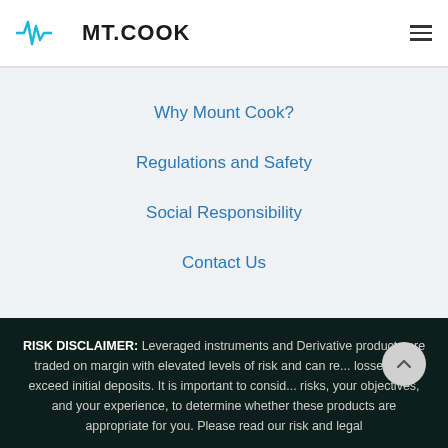[Figure (logo): MT.COOK logo with waveform/heartbeat icon in blue and bold black text]
Why Mount Cook?
Regulations and Safety
Social Responsibility
Contact Us
RISK DISCLAIMER: Leveraged instruments and Derivative products are traded on margin with elevated levels of risk and can re... losses that exceed initial deposits. It is important to consid... risks, your objectives, and your experience, to determine whether these products are appropriate for you. Please read our risk and legal